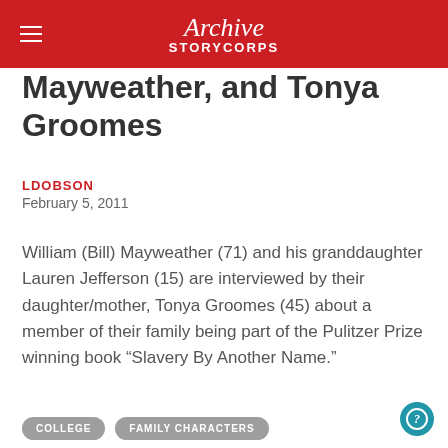Archive StoryCORPS
Mayweather, and Tonya Groomes
LDOBSON
February 5, 2011
William (Bill) Mayweather (71) and his granddaughter Lauren Jefferson (15) are interviewed by their daughter/mother, Tonya Groomes (45) about a member of their family being part of the Pulitzer Prize winning book “Slavery By Another Name.”
COLLEGE   FAMILY CHARACTERS